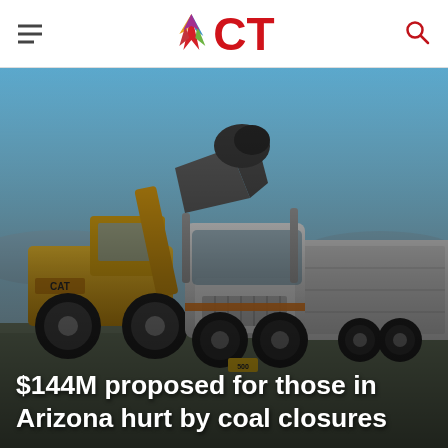ICT
[Figure (photo): A yellow CAT wheel loader loading coal or material into a large white semi-truck cab at a mining or industrial site, with a blue sky background.]
$144M proposed for those in Arizona hurt by coal closures